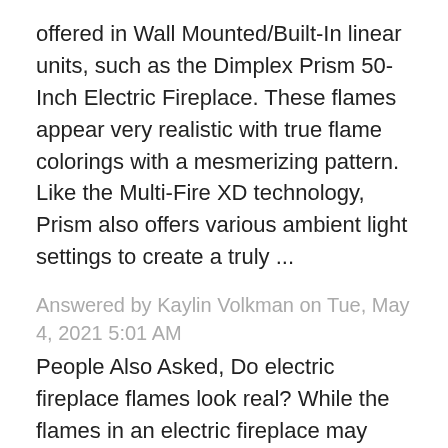offered in Wall Mounted/Built-In linear units, such as the Dimplex Prism 50-Inch Electric Fireplace. These flames appear very realistic with true flame colorings with a mesmerizing pattern. Like the Multi-Fire XD technology, Prism also offers various ambient light settings to create a truly ...
Answered by Kaylin Volkman on Tue, May 4, 2021 5:01 AM
People Also Asked, Do electric fireplace flames look real? While the flames in an electric fireplace may look real, they're actually just an illusion of light created by the fireplace's internal components. This technology gives the flames the ability to dance and even change color. Also know, how do wall mounted electric fires work? Wall Mounted Flueless Gas Fires Like an electric wall ...